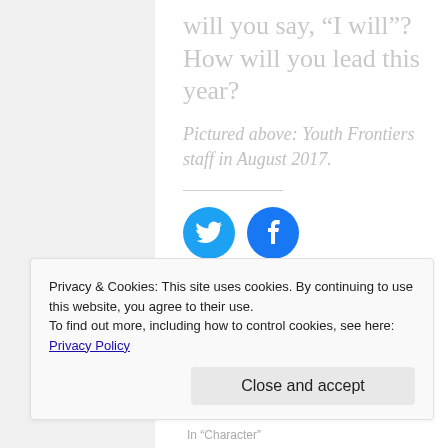will you say, “I will”? How will you lead this year?
Pictured above: Youth Frontiers staff in August 2017.
[Figure (illustration): Two social media share buttons: a Twitter (bird) icon circle in cyan/blue and a Facebook icon circle in blue.]
Privacy & Cookies: This site uses cookies. By continuing to use this website, you agree to their use.
To find out more, including how to control cookies, see here: Privacy Policy
In “Character”